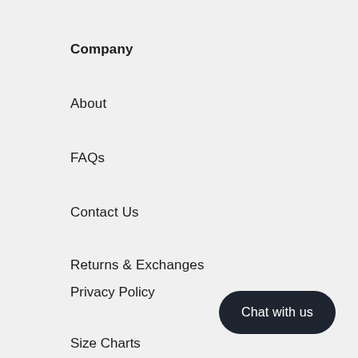Company
About
FAQs
Contact Us
Returns & Exchanges
Privacy Policy
Size Charts
Chat with us